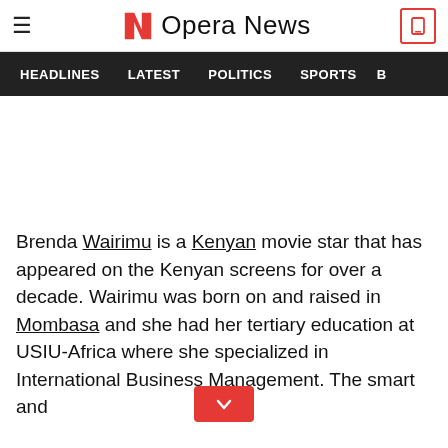Opera News
HEADLINES   LATEST   POLITICS   SPORTS   B
Brenda Wairimu is a Kenyan movie star that has appeared on the Kenyan screens for over a decade. Wairimu was born on and raised in Mombasa and she had her tertiary education at USIU-Africa where she specialized in International Business Management. The smart and